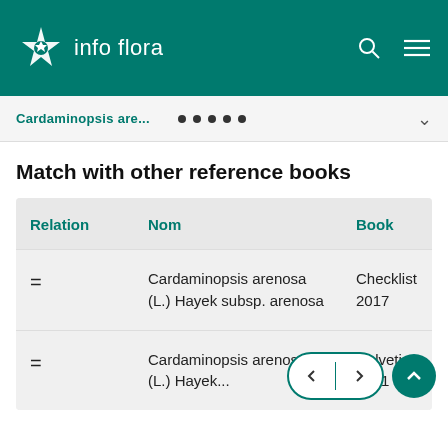info flora
Cardaminopsis are...
Match with other reference books
| Relation | Nom | Book |
| --- | --- | --- |
| = | Cardaminopsis arenosa (L.) Hayek subsp. arenosa | Checklist 2017 |
| = | Cardaminopsis arenosa (L.) Hayek ... | Helvetica 2001 |